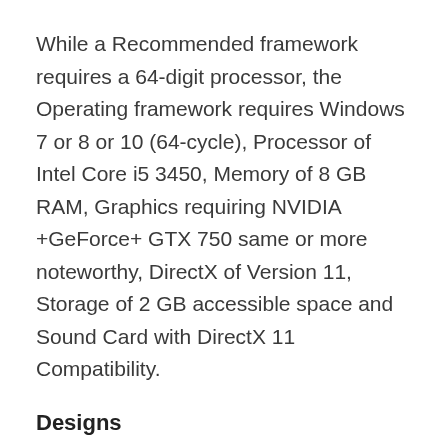While a Recommended framework requires a 64-digit processor, the Operating framework requires Windows 7 or 8 or 10 (64-cycle), Processor of Intel Core i5 3450, Memory of 8 GB RAM, Graphics requiring NVIDIA +GeForce+ GTX 750 same or more noteworthy, DirectX of Version 11, Storage of 2 GB accessible space and Sound Card with DirectX 11 Compatibility.
Designs
Designs In this game are incredibly awe-inspiring. This game has been celebrated with another appearance a new 3d portrayal alongside fantastic new game modes and